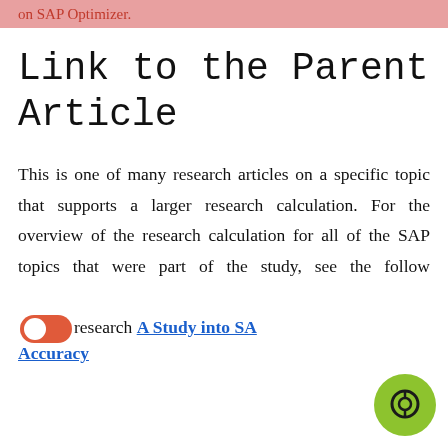on SAP Optimizer.
Link to the Parent Article
This is one of many research articles on a specific topic that supports a larger research calculation. For the overview of the research calculation for all of the SAP topics that were part of the study, see the following primary research A Study into SAP Accuracy